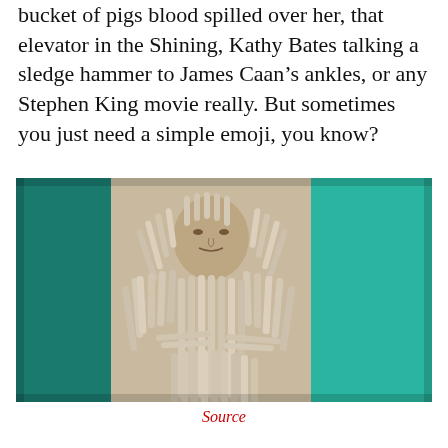bucket of pigs blood spilled over her, that elevator in the Shining, Kathy Bates talking a sledge hammer to James Caan’s ankles, or any Stephen King movie really. But sometimes you just need a simple emoji, you know?
[Figure (photo): A Mona Lisa artwork recreation made with small cylindrical objects (possibly cigarettes or erasers) arranged to form the shape and likeness of the Mona Lisa painting. The sculpture is displayed against a teal/green wall background.]
Source